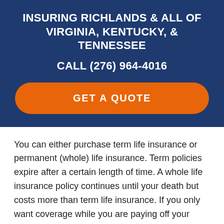INSURING RICHLANDS & ALL OF VIRGINIA, KENTUCKY, & TENNESSEE
CALL (276) 964-4016
GET A QUOTE
You can either purchase term life insurance or permanent (whole) life insurance. Term policies expire after a certain length of time. A whole life insurance policy continues until your death but costs more than term life insurance. If you only want coverage while you are paying off your mortgage or raising your children, term life insurance may be your